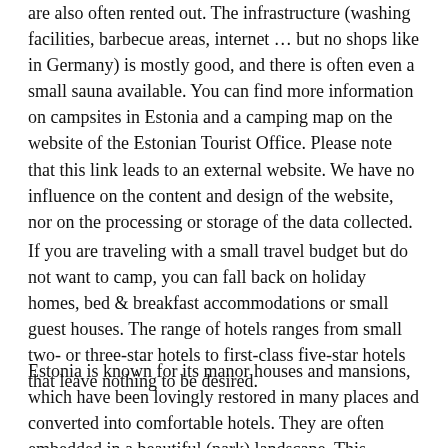are also often rented out. The infrastructure (washing facilities, barbecue areas, internet … but no shops like in Germany) is mostly good, and there is often even a small sauna available. You can find more information on campsites in Estonia and a camping map on the website of the Estonian Tourist Office. Please note that this link leads to an external website. We have no influence on the content and design of the website, nor on the processing or storage of the data collected.
If you are traveling with a small travel budget but do not want to camp, you can fall back on holiday homes, bed & breakfast accommodations or small guest houses. The range of hotels ranges from small two- or three-star hotels to first-class five-star hotels that leave nothing to be desired.
Estonia is known for its manor houses and mansions, which have been lovingly restored in many places and converted into comfortable hotels. They are often embedded in a beautiful (park) landscape. This particularly stylish type of overnight stay is possible, for example, in the Hotel Vihula Manor in the Lahemaa National Park or in the Ammende